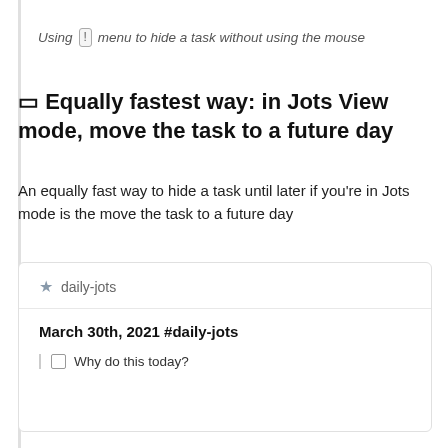Using ! menu to hide a task without using the mouse
🔲 Equally fastest way: in Jots View mode, move the task to a future day
An equally fast way to hide a task until later if you're in Jots mode is the move the task to a future day
★ daily-jots
March 30th, 2021 #daily-jots
☐ Why do this today?